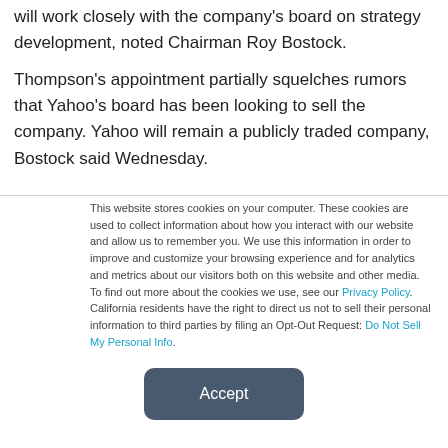will work closely with the company's board on strategy development, noted Chairman Roy Bostock.
Thompson's appointment partially squelches rumors that Yahoo's board has been looking to sell the company. Yahoo will remain a publicly traded company, Bostock said Wednesday.
This website stores cookies on your computer. These cookies are used to collect information about how you interact with our website and allow us to remember you. We use this information in order to improve and customize your browsing experience and for analytics and metrics about our visitors both on this website and other media. To find out more about the cookies we use, see our Privacy Policy. California residents have the right to direct us not to sell their personal information to third parties by filing an Opt-Out Request: Do Not Sell My Personal Info.